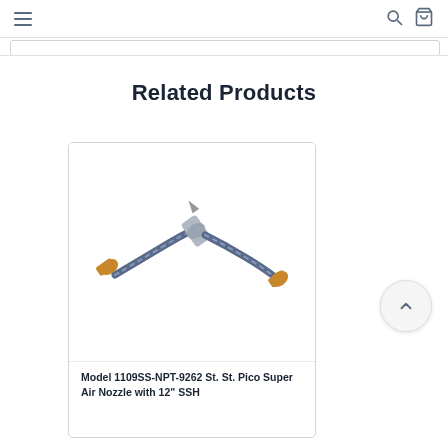Navigation header with hamburger menu, search icon, and cart icon
Related Products
[Figure (photo): Air nozzle product: Model 1109SS-NPT-9262 St. St. Pico Super Air Nozzle with 12" SSH — a flexible hose with brass fittings on each end and a stainless steel nozzle tip in the center]
Model 1109SS-NPT-9262 St. St. Pico Super Air Nozzle with 12" SSH